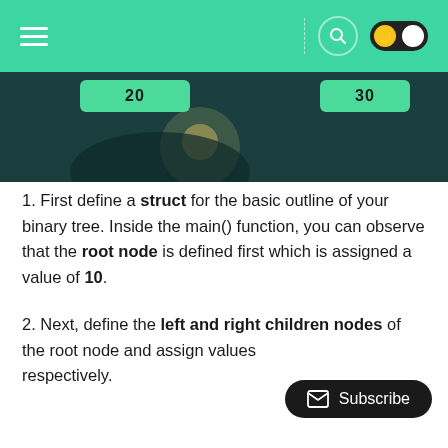[Figure (screenshot): Green navigation bar with hamburger menu icon on left, dashed vertical divider, search icon and dark mode toggle on right. Below is a dark teal image showing two green node buttons labeled '20' and '30'.]
1. First define a struct for the basic outline of your binary tree. Inside the main() function, you can observe that the root node is defined first which is assigned a value of 10.
2. Next, define the left and right children nodes of the root node and assign values respectively.